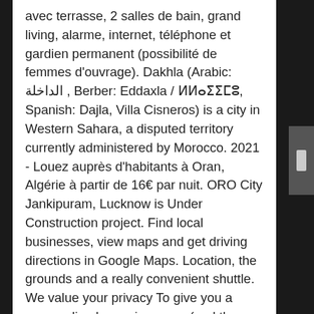avec terrasse, 2 salles de bain, grand living, alarme, internet, téléphone et gardien permanent (possibilité de femmes d'ouvrage). Dakhla (Arabic: الداخلة , Berber: Eddaxla / ⵍⵍⴰⵅⵉⵏⵓ, Spanish: Dajla, Villa Cisneros) is a city in Western Sahara, a disputed territory currently administered by Morocco. 2021 - Louez auprès d'habitants à Oran, Algérie à partir de 16€ par nuit. ORO City Jankipuram, Lucknow is Under Construction project. Find local businesses, view maps and get driving directions in Google Maps. Location, the grounds and a really convenient shuttle. We value your privacy To give you a personalised experience we (and the third parties we work with) collect info about how and when you use Skyscanner. Sofitel Kia Ora Moorea Beach Resort, Maharepa Picture: Villa outdoor terrace - Check out Tripadvisor members' 1,508 candid photos and videos. location villa avec piscine oran Villa a louer Es Senia (Oran) Juin 5